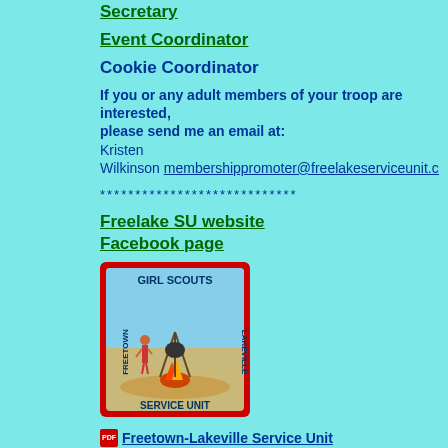Secretary
Event Coordinator
Cookie Coordinator
If you or any adult members of your troop are interested,
please send me an email at:
Kristen
Wilkinson membershippromoter@freelakeserviceunit.c
****************************
Freelake SU website
Facebook page
[Figure (illustration): Girl Scouts Freetown Lakeville Service Unit patch/badge showing a campfire scene with figures around it]
Freetown-Lakeville Service Unit